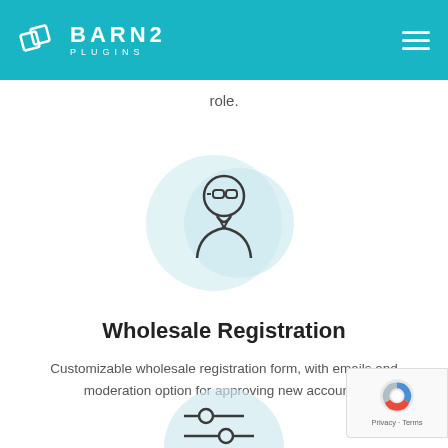BARN2 PLUGINS
role.
[Figure (illustration): Person/user icon inside overlapping light blue circles, outline style]
Wholesale Registration
Customizable wholesale registration form, with emails and moderation option for approving new accounts.
[Figure (illustration): Partial settings/sliders icon inside a light blue circle at bottom of page]
[Figure (other): reCAPTCHA privacy badge in bottom right corner showing Privacy - Terms]